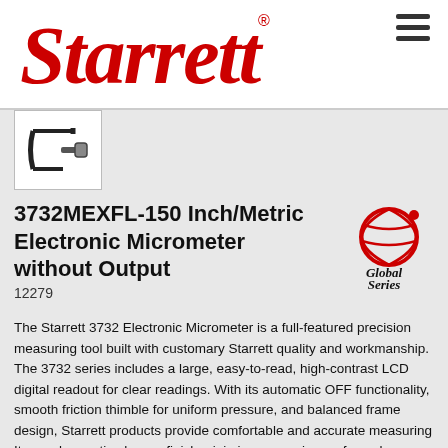[Figure (logo): Starrett red logo wordmark]
[Figure (photo): Small thumbnail image of a micrometer tool]
3732MEXFL-150 Inch/Metric Electronic Micrometer without Output
12279
[Figure (logo): Global Series logo with red swirl graphic]
The Starrett 3732 Electronic Micrometer is a full-featured precision measuring tool built with customary Starrett quality and workmanship. The 3732 series includes a large, easy-to-read, high-contrast LCD digital readout for clear readings. With its automatic OFF functionality, smooth friction thimble for uniform pressure, and balanced frame design, Starrett products provide comfortable and accurate measuring Its no-glare satin chrome finish minimizes annoying surface glare under bright lights indoors. 125-150mm (4.921-5.905 Approx Inch),0.001mm (0.0001") Resolution